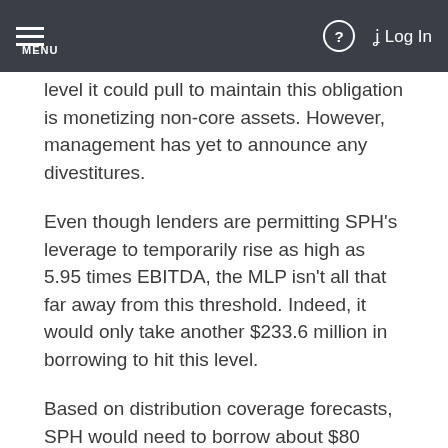MENU | ? | Log In
level it could pull to maintain this obligation is monetizing non-core assets. However, management has yet to announce any divestitures.
Even though lenders are permitting SPH's leverage to temporarily rise as high as 5.95 times EBITDA, the MLP isn't all that far away from this threshold. Indeed, it would only take another $233.6 million in borrowing to hit this level.
Based on distribution coverage forecasts, SPH would need to borrow about $80 million to maintain its distribution this year.
It's entirely possible that SPH could choose to